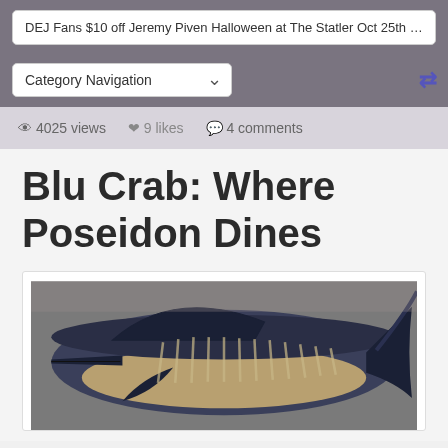DEJ Fans $10 off Jeremy Piven Halloween at The Statler Oct 25th 9:30pm-
Category Navigation
4025 views  9 likes  4 comments
Blu Crab: Where Poseidon Dines
[Figure (photo): A decorative fish sculpture or model photographed on a surface, showing a dark blue and tan striped fish (appears to be a marlin or sailfish) with distinctive fins and markings.]